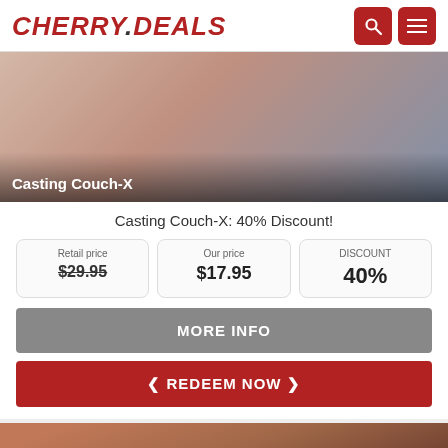CHERRY.DEALS
[Figure (photo): Adult content promotional image with text overlay 'Casting Couch-X']
Casting Couch-X: 40% Discount!
| Retail price | Our price | DISCOUNT |
| --- | --- | --- |
| $29.95 | $17.95 | 40% |
MORE INFO
❮ REDEEM NOW ❯
[Figure (photo): Adult content promotional image (bottom, partially visible)]